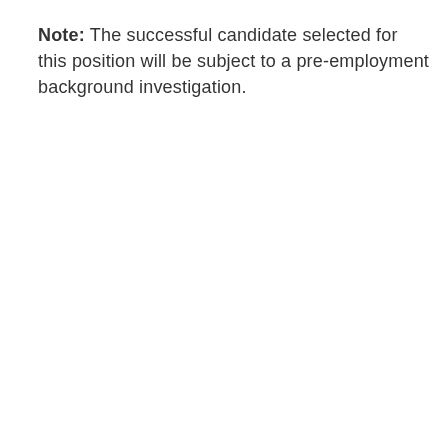Note: The successful candidate selected for this position will be subject to a pre-employment background investigation.